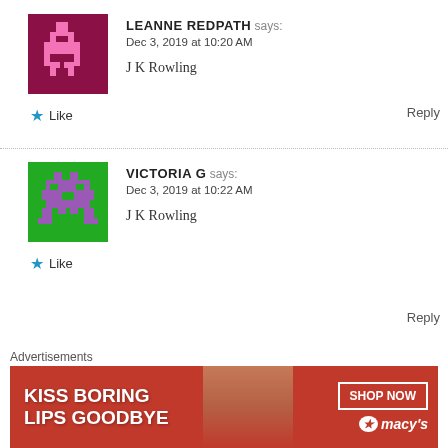[Figure (illustration): Pixel art avatar for Leanne Redpath: dark red/maroon background with pink pixel character shapes]
LEANNE REDPATH says:
Dec 3, 2019 at 10:20 AM

J K Rowling
★ Like
Reply
[Figure (illustration): Pixel art avatar for Victoria G: green background with purple pixel space invader character]
VICTORIA G says:
Dec 3, 2019 at 10:22 AM

J K Rowling
★ Like
Reply
[Figure (illustration): Partial blue rectangle avatar for Megan Kinsey]
MEGAN KINSEY says:
Advertisements
[Figure (photo): Macy's advertisement banner: red background with woman's face and lips, text KISS BORING LIPS GOODBYE, SHOP NOW button, Macy's star logo]